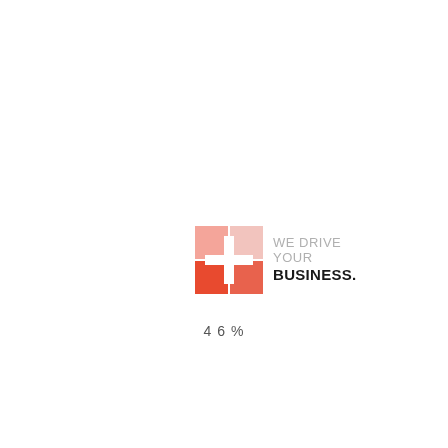[Figure (logo): Company logo showing a red/pink square icon with a plus sign and the text 'WE DRIVE YOUR BUSINESS.']
46 %